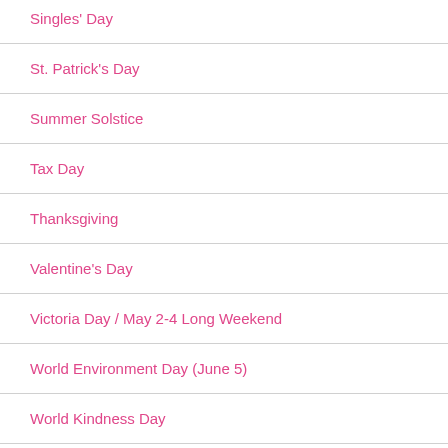Singles' Day
St. Patrick's Day
Summer Solstice
Tax Day
Thanksgiving
Valentine's Day
Victoria Day / May 2-4 Long Weekend
World Environment Day (June 5)
World Kindness Day
World Oceans Day